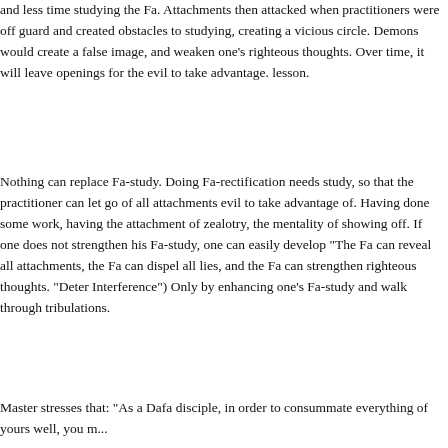and less time studying the Fa. Attachments then attacked when practitioners were off guard and created obstacles to studying, creating a vicious circle. Demons would create a false image, and weaken one's righteous thoughts. Over time, it will leave openings for the evil to take advantage. lesson.
Nothing can replace Fa-study. Doing Fa-rectification needs study, so that the practitioner can let go of all attachments evil to take advantage of. Having done some work, having the attachment of zealotry, the mentality of showing off. If one does not strengthen his Fa-study, one can easily develop "The Fa can reveal all attachments, the Fa can dispel all lies, and the Fa can strengthen righteous thoughts. "Deter Interference") Only by enhancing one's Fa-study and walk through tribulations.
Master stresses that: "As a Dafa disciple, in order to consummate everything of yours well, you m...